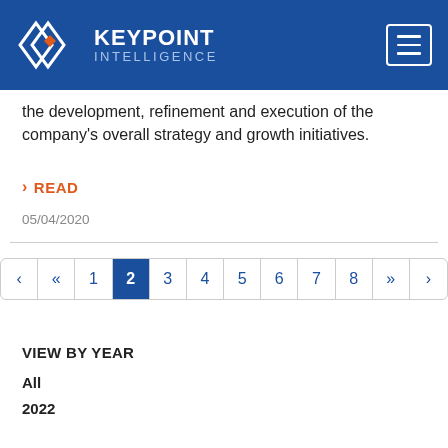KEYPOINT INTELLIGENCE
the development, refinement and execution of the company's overall strategy and growth initiatives.
READ
05/04/2020
Pagination: ‹ « 1 2 3 4 5 6 7 8 » ›
VIEW BY YEAR
All
2022